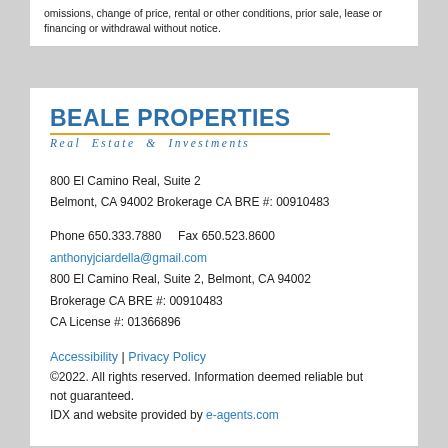omissions, change of price, rental or other conditions, prior sale, lease or financing or withdrawal without notice.
[Figure (logo): Beale Properties Real Estate & Investments logo with blue text and gold underline]
800 El Camino Real, Suite 2
Belmont, CA 94002 Brokerage CA BRE #: 00910483
Phone 650.333.7880    Fax 650.523.8600
anthonyjciardella@gmail.com
800 El Camino Real, Suite 2, Belmont, CA 94002
Brokerage CA BRE #: 00910483
CA License #: 01366896
Accessibility | Privacy Policy
©2022. All rights reserved. Information deemed reliable but not guaranteed.
IDX and website provided by e-agents.com